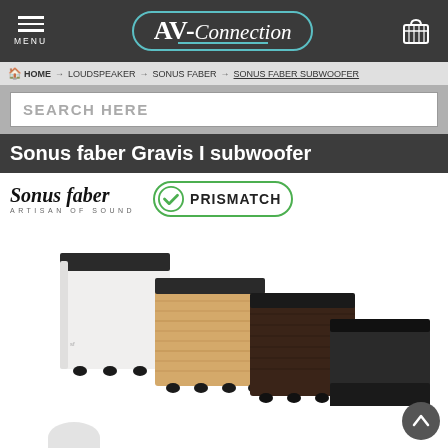AV-Connection
HOME → LOUDSPEAKER → SONUS FABER → SONUS FABER SUBWOOFER
SEARCH HERE
Sonus faber Gravis I subwoofer
[Figure (logo): Sonus faber brand logo with italic serif text and tagline ARTISAN OF SOUND]
[Figure (logo): PRISMATCH badge with green circle checkmark and bold text PRISMATCH]
[Figure (photo): Four Sonus faber Gravis I subwoofers in different finishes: white, natural wood (light), dark wood/walnut, and black/graphite, displayed in a cascading overlapping arrangement from left to right]
[Figure (other): Scroll-up button (dark circle with upward arrow) in bottom right corner]